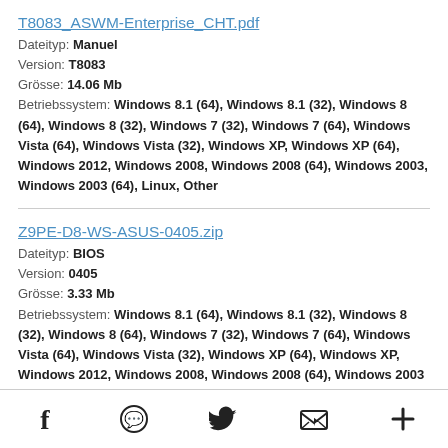T8083_ASWM-Enterprise_CHT.pdf
Dateityp: Manuel
Version: T8083
Grösse: 14.06 Mb
Betriebssystem: Windows 8.1 (64), Windows 8.1 (32), Windows 8 (64), Windows 8 (32), Windows 7 (32), Windows 7 (64), Windows Vista (64), Windows Vista (32), Windows XP, Windows XP (64), Windows 2012, Windows 2008, Windows 2008 (64), Windows 2003, Windows 2003 (64), Linux, Other
Z9PE-D8-WS-ASUS-0405.zip
Dateityp: BIOS
Version: 0405
Grösse: 3.33 Mb
Betriebssystem: Windows 8.1 (64), Windows 8.1 (32), Windows 8 (32), Windows 8 (64), Windows 7 (32), Windows 7 (64), Windows Vista (64), Windows Vista (32), Windows XP (64), Windows XP, Windows 2012, Windows 2008, Windows 2008 (64), Windows 2003 (64), Windows 2003, Linux, Other
Social share icons: Facebook, WhatsApp, Twitter, Email, More